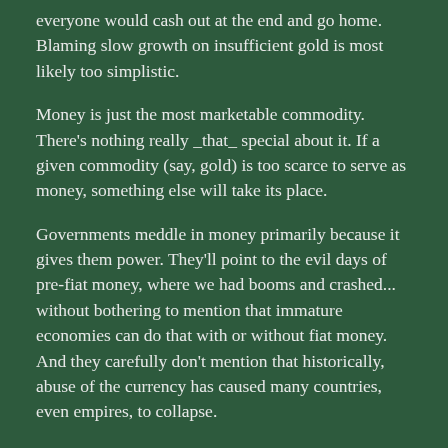everyone would cash out at the end and go home. Blaming slow growth on insufficient gold is most likely too simplistic.
Money is just the most marketable commodity. There's nothing really _that_ special about it. If a given commodity (say, gold) is too scarce to serve as money, something else will take its place.
Governments meddle in money primarily because it gives them power. They'll point to the evil days of pre-fiat money, where we had booms and crashed... without bothering to mention that immature economies can do that with or without fiat money. And they carefully don't mention that historically, abuse of the currency has caused many countries, even empires, to collapse.
U.S. Dollar, n: A politician's promise to pay nothing on demand.